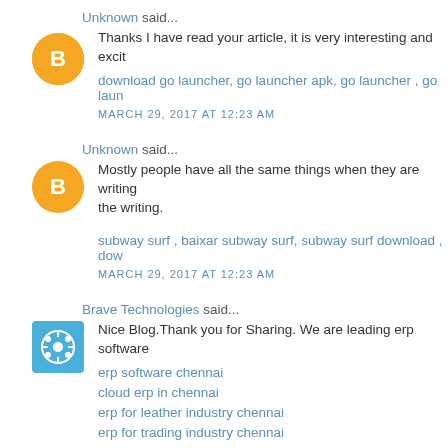Unknown said...
Thanks I have read your article, it is very interesting and excit...
download go launcher, go launcher apk, go launcher , go laun...
MARCH 29, 2017 AT 12:23 AM
Unknown said...
Mostly people have all the same things when they are writing... the writing.
subway surf , baixar subway surf, subway surf download , dow...
MARCH 29, 2017 AT 12:23 AM
Brave Technologies said...
Nice Blog.Thank you for Sharing. We are leading erp software...
erp software chennai
cloud erp in chennai
erp for leather industry chennai
erp for trading industry chennai
erp for automotive industry chennai